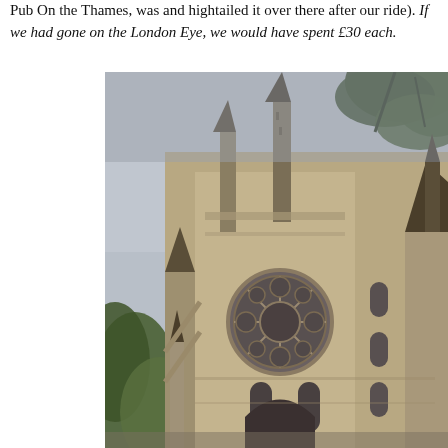Pub On the Thames, was and hightailed it over there after our ride). If we had gone on the London Eye, we would have spent £30 each.
[Figure (photo): Photograph of Westminster Abbey's north transept facade, showing Gothic architecture with pointed spires, a large rose window, ornate stone carvings, and flying buttresses. Overcast sky visible above. Trees partially visible on left and top-right corners.]